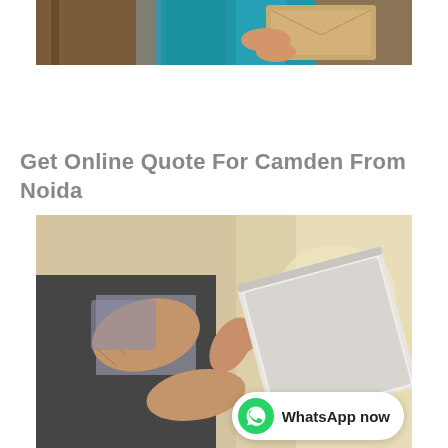[Figure (photo): Top portion of a photo showing a person in a blue shirt holding a package/envelope, delivery scene]
Get Online Quote For Camden From Noida
[Figure (photo): Person in business suit using a tablet device, tapping on screen with finger, blurred background]
WhatsApp now